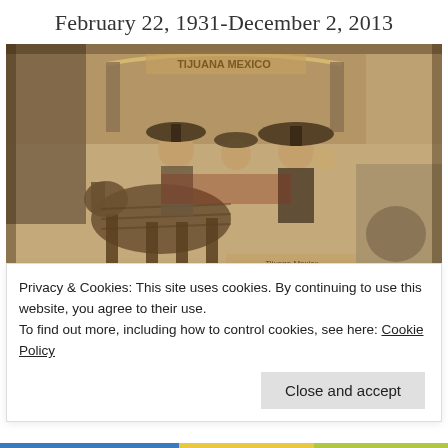February 22, 1931-December 2, 2013
[Figure (photo): Sepia-toned vintage photograph of a group of people at Tijuana Mexico, with a woman seated on a donkey wearing a large hat, a man in a sombrero holding a baby, and another child, with a 'Tijuana Mexico' sign arched in the background.]
Privacy & Cookies: This site uses cookies. By continuing to use this website, you agree to their use.
To find out more, including how to control cookies, see here: Cookie Policy
Close and accept